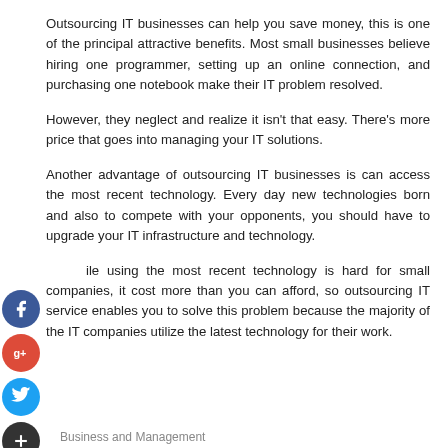Outsourcing IT businesses can help you save money, this is one of the principal attractive benefits. Most small businesses believe hiring one programmer, setting up an online connection, and purchasing one notebook make their IT problem resolved.
However, they neglect and realize it isn't that easy. There's more price that goes into managing your IT solutions.
Another advantage of outsourcing IT businesses is can access the most recent technology. Every day new technologies born and also to compete with your opponents, you should have to upgrade your IT infrastructure and technology.
While using the most recent technology is hard for small companies, it cost more than you can afford, so outsourcing IT service enables you to solve this problem because the majority of the IT companies utilize the latest technology for their work.
[Figure (infographic): Social media share buttons: Facebook (blue circle with f), Google+ (red circle with g+), Twitter (blue circle with bird), Plus/Add (dark circle with +), and a folder icon below]
Business and Management